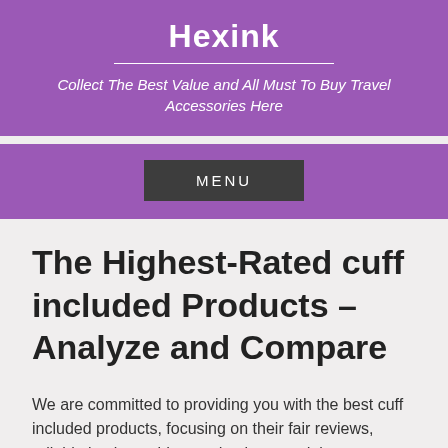Hexink
Collect The Best Value and All Must To Buy Travel Accessories Here
MENU
The Highest-Rated cuff included Products – Analyze and Compare
We are committed to providing you with the best cuff included products, focusing on their fair reviews, reliable buying guides, and unique models.